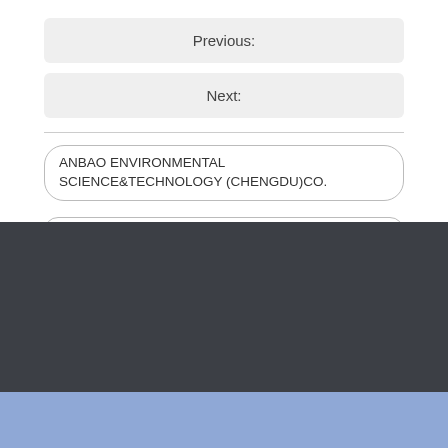Previous:
Next:
ANBAO ENVIRONMENTAL SCIENCE&TECHNOLOGY (CHENGDU)CO.
Custom Ice Cream Paper Containers Logo Printed Paper Ice Cream Pint With Dome Lids
High Quality Paper Ice Cream Pint With Dome Lids
Paper Ice Cream Pint With Dome Lids paper cup Details